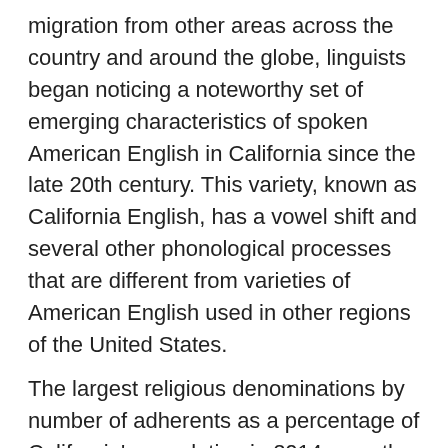migration from other areas across the country and around the globe, linguists began noticing a noteworthy set of emerging characteristics of spoken American English in California since the late 20th century. This variety, known as California English, has a vowel shift and several other phonological processes that are different from varieties of American English used in other regions of the United States.
The largest religious denominations by number of adherents as a percentage of California's population in 2014 were the Catholic Church with 28 percent, Evangelical Protestants with 20 percent, and Mainline Protestants...